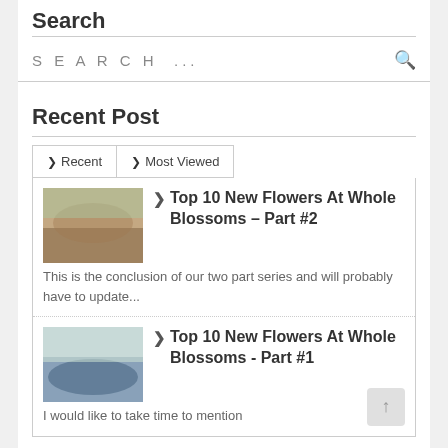Search
SEARCH ...
Recent Post
Recent
Most Viewed
> Top 10 New Flowers At Whole Blossoms – Part #2
This is the conclusion of our two part series and will probably have to update...
> Top 10 New Flowers At Whole Blossoms - Part #1
I would like to take time to mention